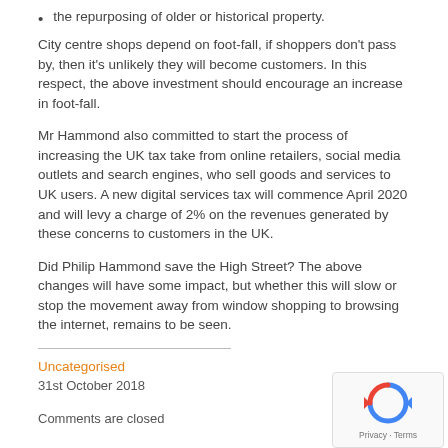the repurposing of older or historical property.
City centre shops depend on foot-fall, if shoppers don't pass by, then it's unlikely they will become customers. In this respect, the above investment should encourage an increase in foot-fall.
Mr Hammond also committed to start the process of increasing the UK tax take from online retailers, social media outlets and search engines, who sell goods and services to UK users. A new digital services tax will commence April 2020 and will levy a charge of 2% on the revenues generated by these concerns to customers in the UK.
Did Philip Hammond save the High Street? The above changes will have some impact, but whether this will slow or stop the movement away from window shopping to browsing the internet, remains to be seen.
Uncategorised
31st October 2018
Comments are closed